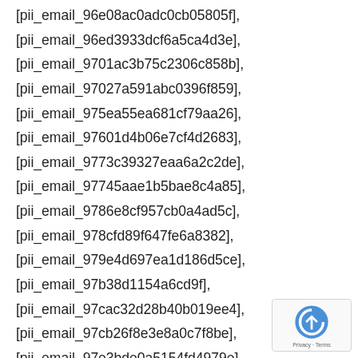[pii_email_96e08ac0adc0cb05805f],
[pii_email_96ed3933dcf6a5ca4d3e],
[pii_email_9701ac3b75c2306c858b],
[pii_email_97027a591abc0396f859],
[pii_email_975ea55ea681cf79aa26],
[pii_email_97601d4b06e7cf4d2683],
[pii_email_9773c39327eaa6a2c2de],
[pii_email_97745aae1b5bae8c4a85],
[pii_email_9786e8cf957cb0a4ad5c],
[pii_email_978cfd89f647fe6a8382],
[pii_email_979e4d697ea1d186d5ce],
[pii_email_97b38d1154a6cd9f],
[pii_email_97cac32d28b40b019ee4],
[pii_email_97cb26f8e3e8a0c7f8be],
[pii_email_97e3bde0a5154fd4979e],
[pii_email_97f8badf6dfa29eabbac],
[pii_email_981e9c5fd01b67256f01],